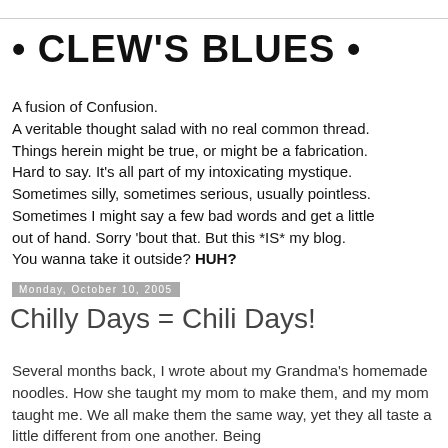• CLEW'S BLUES •
A fusion of Confusion. A veritable thought salad with no real common thread. Things herein might be true, or might be a fabrication. Hard to say. It's all part of my intoxicating mystique. Sometimes silly, sometimes serious, usually pointless. Sometimes I might say a few bad words and get a little out of hand. Sorry 'bout that. But this *IS* my blog. You wanna take it outside? HUH?
Monday, October 10, 2005
Chilly Days = Chili Days!
Several months back, I wrote about my Grandma's homemade noodles. How she taught my mom to make them, and my mom taught me. We all make them the same way, yet they all taste a little different from one another. Being